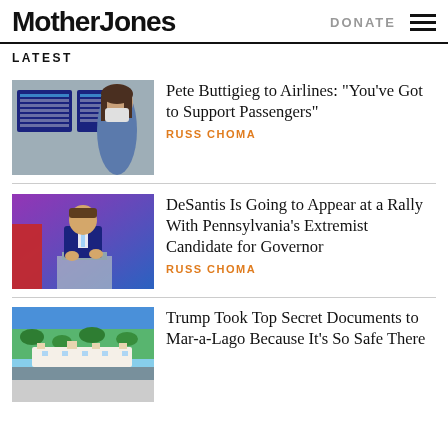Mother Jones
LATEST
[Figure (photo): Person wearing mask looking at airport departure boards]
Pete Buttigieg to Airlines: “You’ve Got to Support Passengers”
RUSS CHOMA
[Figure (photo): DeSantis speaking at a podium]
DeSantis Is Going to Appear at a Rally With Pennsylvania’s Extremist Candidate for Governor
RUSS CHOMA
[Figure (photo): Aerial view of Mar-a-Lago estate]
Trump Took Top Secret Documents to Mar-a-Lago Because It’s So Safe There